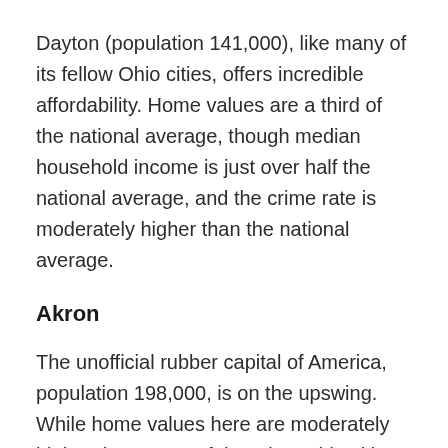Dayton (population 141,000), like many of its fellow Ohio cities, offers incredible affordability. Home values are a third of the national average, though median household income is just over half the national average, and the crime rate is moderately higher than the national average.
Akron
The unofficial rubber capital of America, population 198,000, is on the upswing. While home values here are moderately higher than some of the other Ohio cities' rock-bottom prices, homes here are still very affordable, with a median home value of $80,100, less than half